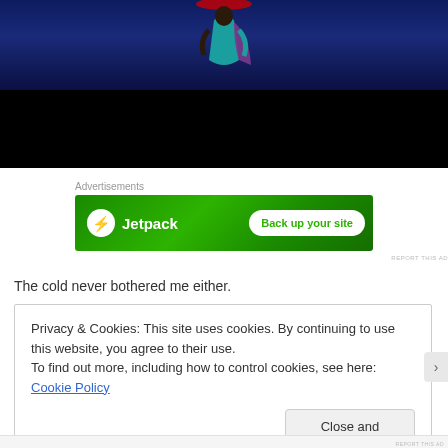[Figure (photo): Screenshot of a webpage showing a dark fantasy game character (woman in teal outfit) against a dark blue night sky background, with a black panel below]
Advertisements
[Figure (other): Jetpack advertisement banner with green background, Jetpack logo on left and 'Back up your site' button on right]
REPORT THIS AD
The cold never bothered me either.
Privacy & Cookies: This site uses cookies. By continuing to use this website, you agree to their use.
To find out more, including how to control cookies, see here: Cookie Policy
Close and accept